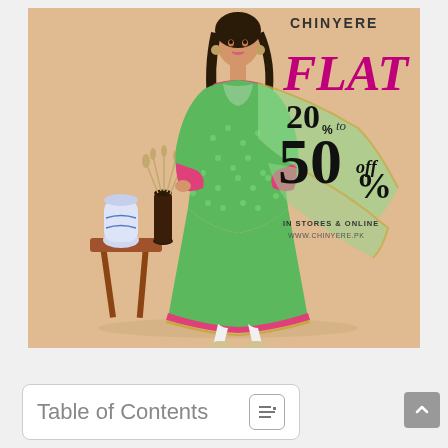[Figure (photo): Fashion advertisement for CHINYERE brand. A woman in a green and pink traditional Pakistani dress (shalwar kameez) with dupatta stands against a warm beige background. A wooden side table with vases and dried flowers is on her left. Text overlay reads: FLAT 20% to 50% off. IN STORES & ONLINE WWW.CHINYERE.PK]
Table of Contents